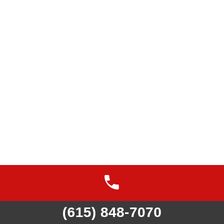[Figure (illustration): White empty area occupying top portion of the page]
[Figure (illustration): Red banner bar with a white telephone handset icon centered]
(615) 848-7070